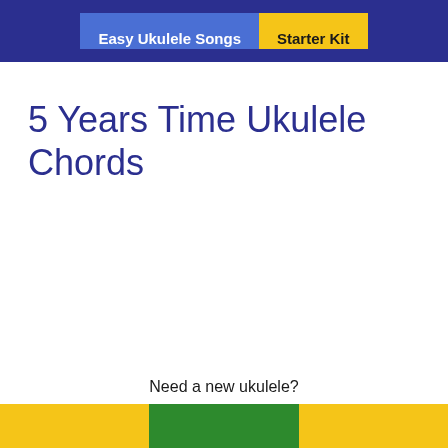Easy Ukulele Songs | Starter Kit
5 Years Time Ukulele Chords
Need a new ukulele?